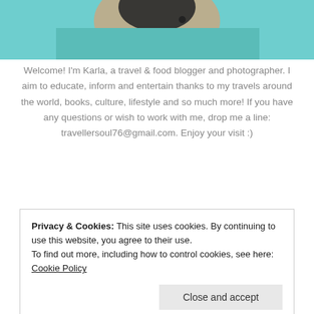[Figure (photo): Cropped photo of a person wearing teal/turquoise patterned clothing, partially visible at the top of the page]
Welcome! I'm Karla, a travel & food blogger and photographer. I aim to educate, inform and entertain thanks to my travels around the world, books, culture, lifestyle and so much more! If you have any questions or wish to work with me, drop me a line: travellersoul76@gmail.com. Enjoy your visit :)
LOOKING FOR SOMETHING?
Privacy & Cookies: This site uses cookies. By continuing to use this website, you agree to their use.
To find out more, including how to control cookies, see here: Cookie Policy
CATEGORIES